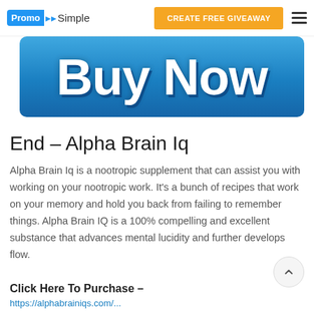PromoSimple | CREATE FREE GIVEAWAY
[Figure (screenshot): Blue 'Buy Now' button banner image]
End – Alpha Brain Iq
Alpha Brain Iq is a nootropic supplement that can assist you with working on your nootropic work. It's a bunch of recipes that work on your memory and hold you back from failing to remember things. Alpha Brain IQ is a 100% compelling and excellent substance that advances mental lucidity and further develops flow.
Click Here To Purchase –
https://alphabrainiqs.com/...